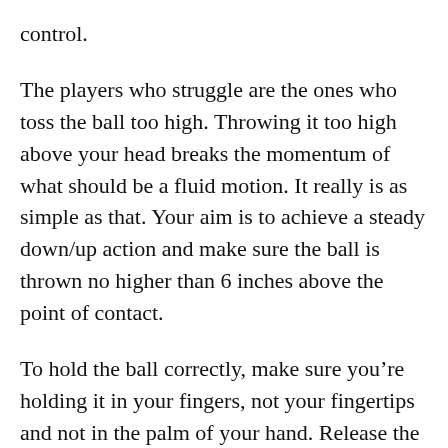control.
The players who struggle are the ones who toss the ball too high. Throwing it too high above your head breaks the momentum of what should be a fluid motion. It really is as simple as that. Your aim is to achieve a steady down/up action and make sure the ball is thrown no higher than 6 inches above the point of contact.
To hold the ball correctly, make sure you’re holding it in your fingers, not your fingertips and not in the palm of your hand. Release the ball when your hand reaches your head.